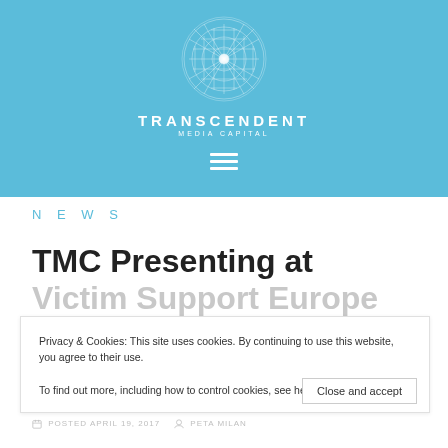[Figure (logo): Transcendent Media Capital logo: white geometric sphere/mandala pattern on light blue background with brand name TRANSCENDENT MEDIA CAPITAL below]
NEWS
TMC Presenting at Victim Support Europe 2017 in Dublin
POSTED APRIL 19, 2017   PETA MILAN
Privacy & Cookies: This site uses cookies. By continuing to use this website, you agree to their use.
To find out more, including how to control cookies, see here: Cookie Policy